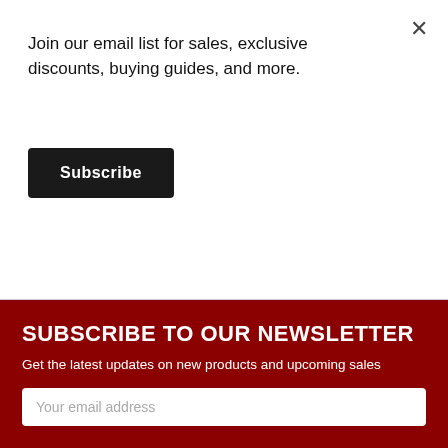Join our email list for sales, exclusive discounts, buying guides, and more.
Subscribe
×
SUBSCRIBE TO OUR NEWSLETTER
Get the latest updates on new products and upcoming sales
Your email address